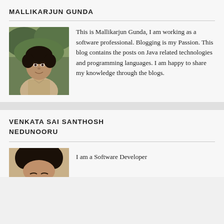MALLIKARJUN GUNDA
[Figure (photo): Portrait photo of Mallikarjun Gunda, a young man in a beige/khaki shirt, outdoors with green trees in background]
This is Mallikarjun Gunda, I am working as a software professional. Blogging is my Passion. This blog contains the posts on Java related technologies and programming languages. I am happy to share my knowledge through the blogs.
VENKATA SAI SANTHOSH NEDUNOORU
[Figure (photo): Partial portrait photo of Venkata Sai Santhosh Nedunooru, showing top of head with dark hair]
I am a Software Developer